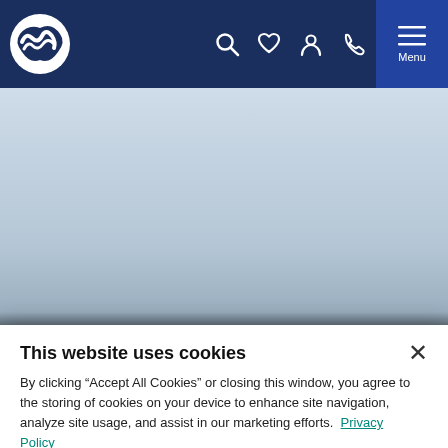Navigation bar with logo, search, favorites, account, phone icons and Menu button
[Figure (photo): Light blue-grey hero image area representing a jungle/nature scene background]
Search the jungle for mountain gorilla
Take a strenuous and unpredictable trek in search of these evasive creatures. Finding and watching the gorillas is a
This website uses cookies
By clicking “Accept All Cookies” or closing this window, you agree to the storing of cookies on your device to enhance site navigation, analyze site usage, and assist in our marketing efforts. Privacy Policy
Cookies Settings
Accept All Cookies